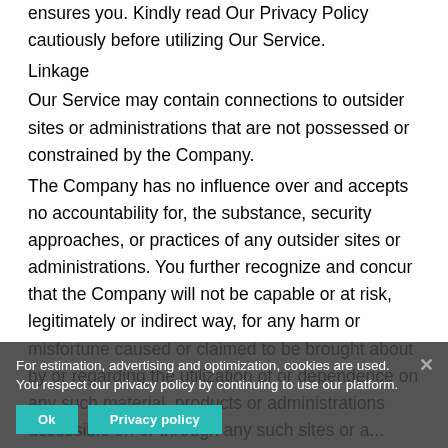ensures you. Kindly read Our Privacy Policy cautiously before utilizing Our Service.
Linkage
Our Service may contain connections to outsider sites or administrations that are not possessed or constrained by the Company.
The Company has no influence over and accepts no accountability for, the substance, security approaches, or practices of any outsider sites or administrations. You further recognize and concur that the Company will not be capable or at risk, legitimately or indirect way, for any harm or misfortune caused or claimed to be brought about by or regarding the utilization of or dependence on any such material, products or administrations accessible on or through any such sites or a...
We firmly encourage you to survey the terms of use and privacy statement of any outsider site or administrations that you visit.
Closure
For estimation, advertising and optimization, cookies are used. You respect our privacy policy by continuing to use our platform.